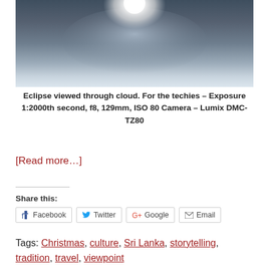[Figure (photo): Eclipse viewed through cloud — a bright white circular glow against dark grey cloudy sky, with lighter misty areas below]
Eclipse viewed through cloud. For the techies – Exposure 1:2000th second, f8, 129mm, ISO 80 Camera – Lumix DMC-TZ80
[Read more…]
Share this:
Facebook  Twitter  Google  Email
Tags: Christmas, culture, Sri Lanka, storytelling, tradition, travel, viewpoint